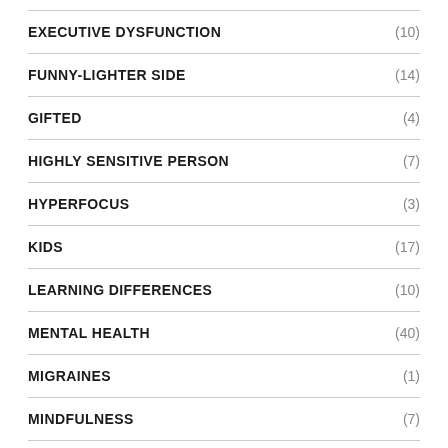EXECUTIVE DYSFUNCTION (10)
FUNNY-LIGHTER SIDE (14)
GIFTED (4)
HIGHLY SENSITIVE PERSON (7)
HYPERFOCUS (3)
KIDS (17)
LEARNING DIFFERENCES (10)
MENTAL HEALTH (40)
MIGRAINES (1)
MINDFULNESS (7)